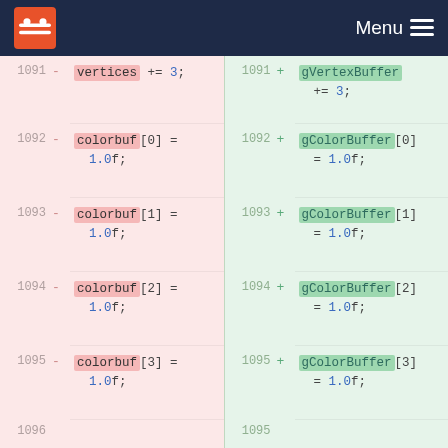Menu
[Figure (screenshot): Code diff view showing two columns: left (removed, pink background) with old variable names like 'vertices', 'colorbuf[0]', 'colorbuf[1]', 'colorbuf[2]', 'colorbuf[3]' and right (added, green background) with new variable names 'gVertexBuffer', 'gColorBuffer[0]', 'gColorBuffer[1]', 'gColorBuffer[2]', 'gColorBuffer[3]'. Line numbers 1091-1095+ shown. Each changed line has += 3 or = 1.0f assignments.]